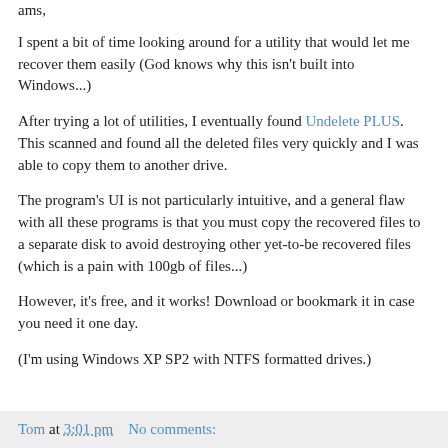ams,
I spent a bit of time looking around for a utility that would let me recover them easily (God knows why this isn't built into Windows...)
After trying a lot of utilities, I eventually found Undelete PLUS. This scanned and found all the deleted files very quickly and I was able to copy them to another drive.
The program's UI is not particularly intuitive, and a general flaw with all these programs is that you must copy the recovered files to a separate disk to avoid destroying other yet-to-be recovered files (which is a pain with 100gb of files...)
However, it's free, and it works! Download or bookmark it in case you need it one day.
(I'm using Windows XP SP2 with NTFS formatted drives.)
Tom at 3:01 pm    No comments: